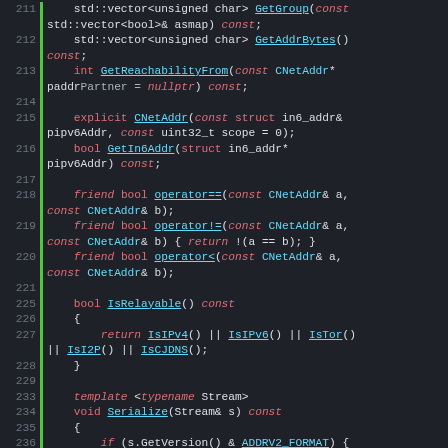[Figure (screenshot): Source code viewer showing C++ code for CNetAddr class methods, lines 211-242, with syntax highlighting on dark background. Shows method declarations including GetGroup, GetAddrBytes, GetReachabilityFrom, CNetAddr constructor, GetIn6Addr, operator==, operator!=, operator<, IsRelayable, and Serialize.]